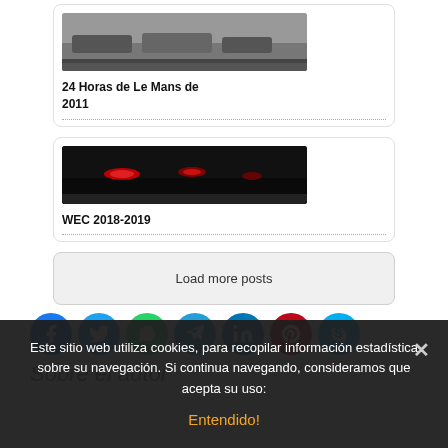[Figure (photo): Thumbnail image related to 24 Horas de Le Mans de 2011]
24 Horas de Le Mans de 2011
[Figure (photo): Thumbnail image related to WEC 2018-2019, dark scene with red lights]
WEC 2018-2019
Load more posts
[Figure (infographic): Row of social media icon buttons: Facebook, Twitter, WhatsApp, Telegram, LinkedIn, Pinterest, Skype]
Sobre el autor
Este sitio web utiliza cookies, para recopilar información estadística sobre su navegación. Si continua navegando, consideramos que acepta su uso:
Entendido!